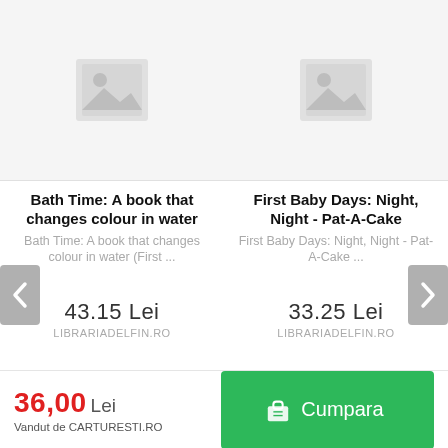[Figure (other): Placeholder image for book product 1 - grey background with image icon]
Bath Time: A book that changes colour in water
Bath Time: A book that changes colour in water (First ...
43.15 Lei
LIBRARIADELFIN.RO
[Figure (other): Placeholder image for book product 2 - grey background with image icon]
First Baby Days: Night, Night - Pat-A-Cake
First Baby Days: Night, Night - Pat-A-Cake ...
33.25 Lei
LIBRARIADELFIN.RO
36,00 Lei
Vandut de CARTURESTI.RO
Cumpara